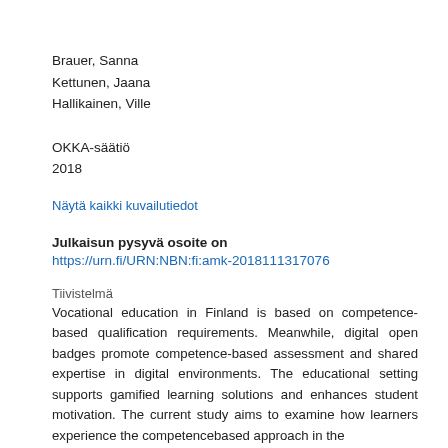Brauer, Sanna
Kettunen, Jaana
Hallikainen, Ville
OKKA-säätiö
2018
Näytä kaikki kuvailutiedot
Julkaisun pysyvä osoite on
https://urn.fi/URN:NBN:fi:amk-2018111317076
Tiivistelmä
Vocational education in Finland is based on competence-based qualification requirements. Meanwhile, digital open badges promote competence-based assessment and shared expertise in digital environments. The educational setting supports gamified learning solutions and enhances student motivation. The current study aims to examine how learners experience the competencebased approach in the